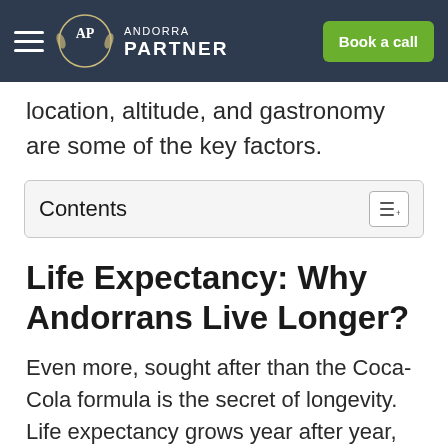Andorra Partner — Book a call
location, altitude, and gastronomy are some of the key factors.
Contents
Life Expectancy: Why Andorrans Live Longer?
Even more, sought after than the Coca-Cola formula is the secret of longevity. Life expectancy grows year after year, but some individuals and, above all, some regions and